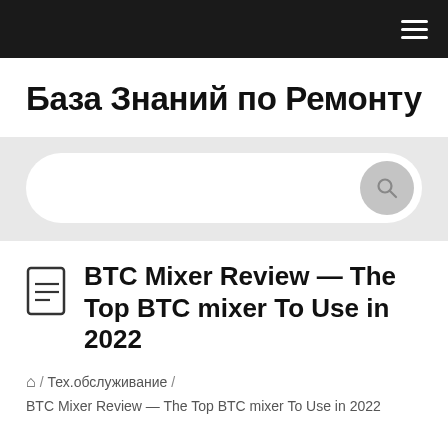☰ (hamburger menu)
База Знаний по Ремонту
[Figure (other): Search bar with rounded rectangle input field and circular search button icon on gray background]
BTC Mixer Review — The Top BTC mixer To Use in 2022
🏠 / Тех.обслуживание / BTC Mixer Review — The Top BTC mixer To Use in 2022